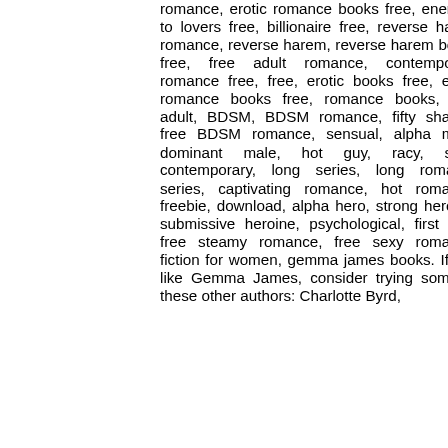romance, erotic romance books free, enemies to lovers free, billionaire free, reverse harem romance, reverse harem, reverse harem books free, free adult romance, contemporary romance free, free, erotic books free, erotic romance books free, romance books, new adult, BDSM, BDSM romance, fifty shades, free BDSM romance, sensual, alpha male, dominant male, hot guy, racy, sexy, contemporary, long series, long romance series, captivating romance, hot romance, freebie, download, alpha hero, strong heroine, submissive heroine, psychological, first free, free steamy romance, free sexy romance, fiction for women, gemma james books. If you like Gemma James, consider trying some of these other authors: Charlotte Byrd,